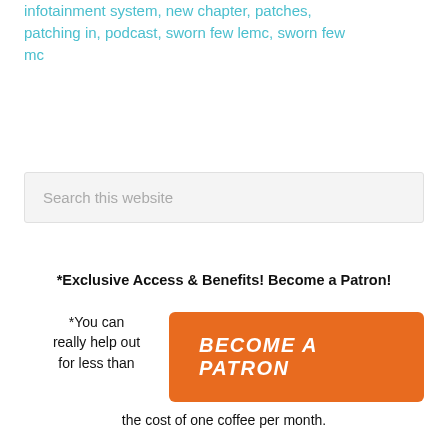infotainment system, new chapter, patches, patching in, podcast, sworn few lemc, sworn few mc
Search this website
*Exclusive Access & Benefits! Become a Patron!
*You can really help out for less than the cost of one coffee per month.